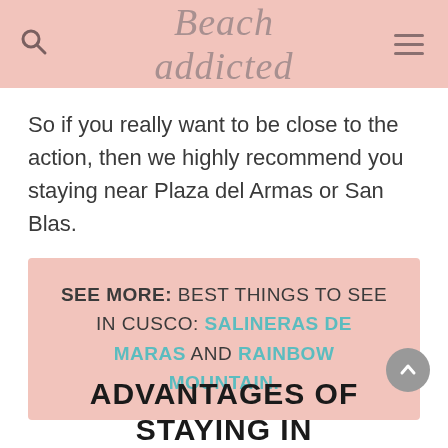Beach addicted
So if you really want to be close to the action, then we highly recommend you staying near Plaza del Armas or San Blas.
SEE MORE: BEST THINGS TO SEE IN CUSCO: SALINERAS DE MARAS AND RAINBOW MOUNTAIN.
ADVANTAGES OF STAYING IN